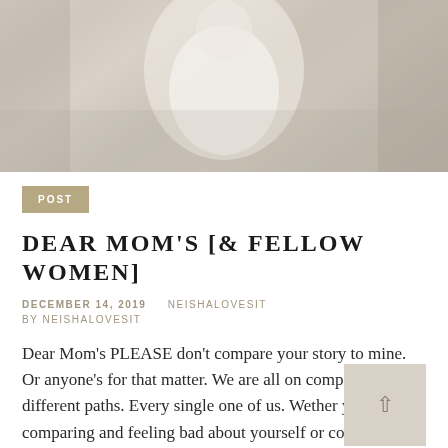[Figure (photo): Faded/washed out photo of a mother and child sitting together, soft warm tones]
POST
DEAR MOM'S [& FELLOW WOMEN]
DECEMBER 14, 2019   NEISHALOVESIT
BY NEISHALOVESIT
Dear Mom's PLEASE don't compare your story to mine. Or anyone's for that matter. We are all on completely different paths. Every single one of us. Wether you're comparing and feeling bad about yourself or comparing